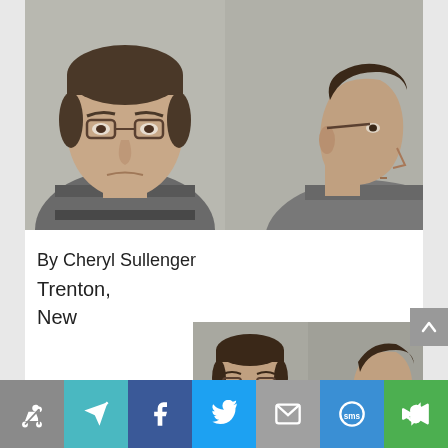[Figure (photo): Two mugshot-style photos of a middle-aged man with glasses and dark hair wearing a striped polo shirt — front view on left, side profile on right]
By Cheryl Sullenger
Trenton, New
[Figure (photo): Two smaller mugshot-style photos of a man with glasses — front view on left, side profile on right]
Share icons: forward, send, Facebook, Twitter, email, SMS, camera